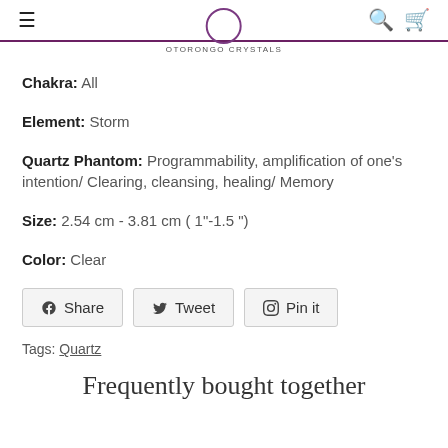Otorongo Crystals
Chakra: All
Element: Storm
Quartz Phantom: Programmability, amplification of one's intention/ Clearing, cleansing, healing/ Memory
Size: 2.54 cm - 3.81 cm ( 1"-1.5 ")
Color: Clear
Share  Tweet  Pin it
Tags: Quartz
Frequently bought together